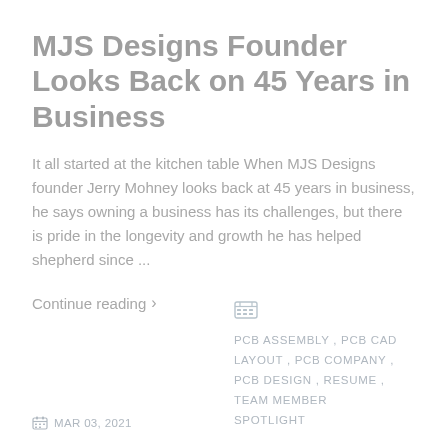MJS Designs Founder Looks Back on 45 Years in Business
It all started at the kitchen table When MJS Designs founder Jerry Mohney looks back at 45 years in business, he says owning a business has its challenges, but there is pride in the longevity and growth he has helped shepherd since …
Continue reading >
PCB ASSEMBLY , PCB CAD LAYOUT , PCB COMPANY , PCB DESIGN , RESUME , TEAM MEMBER SPOTLIGHT
MAR 03, 2021